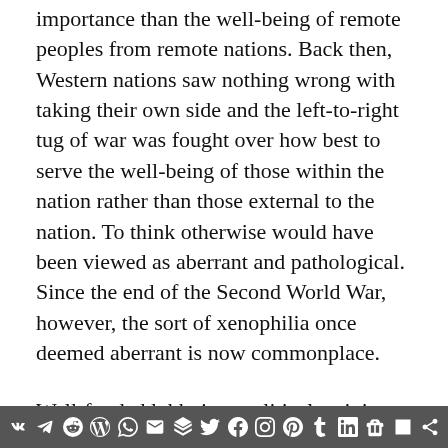importance than the well-being of remote peoples from remote nations. Back then, Western nations saw nothing wrong with taking their own side and the left-to-right tug of war was fought over how best to serve the well-being of those within the nation rather than those external to the nation. To think otherwise would have been viewed as aberrant and pathological. Since the end of the Second World War, however, the sort of xenophilia once deemed aberrant is now commonplace.
Well-funded lobbyists, political activists and manipulators of public opinion in academia and media, comprised mostly of people motivated by
[social media share icons]